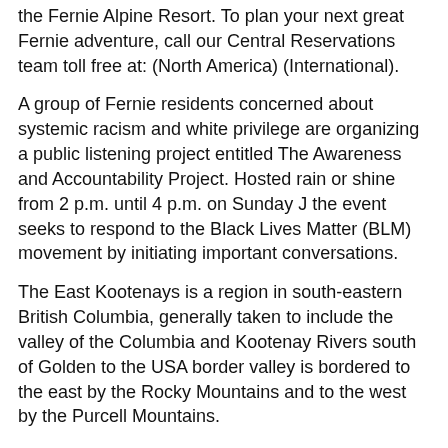the Fernie Alpine Resort. To plan your next great Fernie adventure, call our Central Reservations team toll free at: (North America) (International).
A group of Fernie residents concerned about systemic racism and white privilege are organizing a public listening project entitled The Awareness and Accountability Project. Hosted rain or shine from 2 p.m. until 4 p.m. on Sunday J the event seeks to respond to the Black Lives Matter (BLM) movement by initiating important conversations.
The East Kootenays is a region in south-eastern British Columbia, generally taken to include the valley of the Columbia and Kootenay Rivers south of Golden to the USA border valley is bordered to the east by the Rocky Mountains and to the west by the Purcell Mountains.
Ab people live in the region (). Fernie map-area, east half, Alberta and British Columbia, 82G E½ (Report and Map ); Geological Survey of Canada, Paper65 p.
+ Preliminary MapGeology, Fernie (East Half),